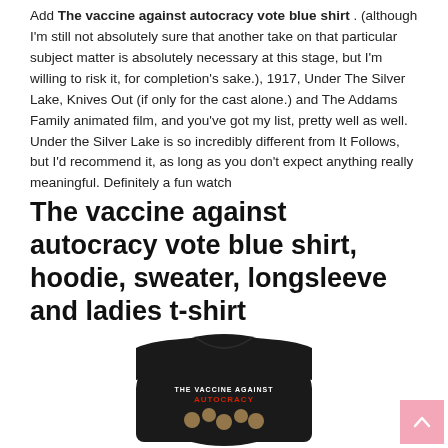Add The vaccine against autocracy vote blue shirt . (although I'm still not absolutely sure that another take on that particular subject matter is absolutely necessary at this stage, but I'm willing to risk it, for completion's sake.), 1917, Under The Silver Lake, Knives Out (if only for the cast alone.) and The Addams Family animated film, and you've got my list, pretty well as well. Under the Silver Lake is so incredibly different from It Follows, but I'd recommend it, as long as you don't expect anything really meaningful. Definitely a fun watch
The vaccine against autocracy vote blue shirt, hoodie, sweater, longsleeve and ladies t-shirt
[Figure (photo): A black t-shirt with 'THE VACCINE AGAINST AUTOCRACY' text and faces printed on it]